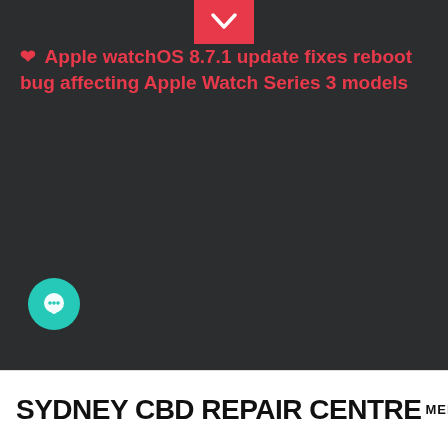[Figure (screenshot): Dark navigation/header area of a website with a red dropdown chevron button at top center, a red heart and news headline link, a teal chat bubble button on the left side]
❤ Apple watchOS 8.7.1 update fixes reboot bug affecting Apple Watch Series 3 models
SYDNEY CBD REPAIR CENTRE MENU ≡